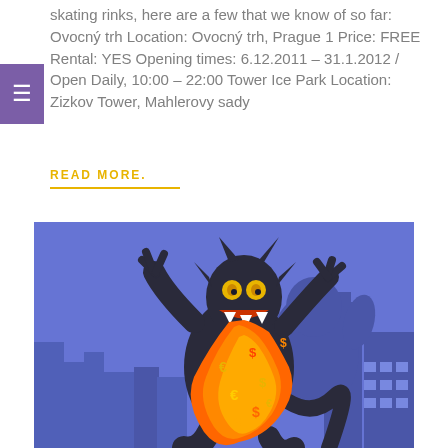skating rinks, here are a few that we know of so far: Ovocný trh Location: Ovocný trh, Prague 1 Price: FREE Rental: YES Opening times: 6.12.2011 – 31.1.2012 / Open Daily, 10:00 – 22:00 Tower Ice Park Location: Zizkov Tower, Mahlerovy sady
READ MORE.
[Figure (illustration): Illustration of a monster/Godzilla-like dark creature breathing orange fire with currency symbols (€, $, ¥) against a blue city skyline background]